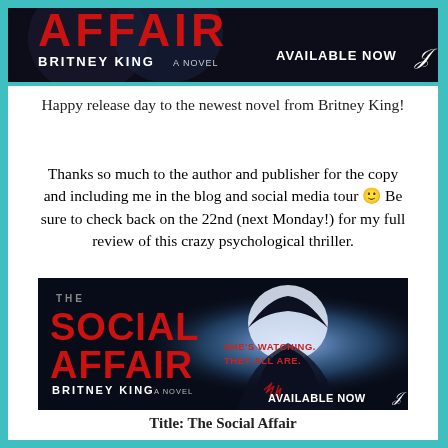[Figure (illustration): Top banner showing The Social Affair book cover with red text 'AFFAIR', 'BRITNEY KING A NOVEL', dark background with face silhouettes, and 'AVAILABLE NOW' text on the right.]
Happy release day to the newest novel from Britney King!
Thanks so much to the author and publisher for the copy and including me in the blog and social media tour 🙂 Be sure to check back on the 22nd (next Monday!) for my full review of this crazy psychological thriller.
[Figure (illustration): Book cover for 'The Social Affair' by Britney King. Red text 'THE SOCIAL AFFAIR' on dark background, figure in hoodie with bright backlight, text reads 'SHE'S WATCHING. THEY ALL ARE.' and 'AVAILABLE NOW' at bottom right.]
Title: The Social Affair